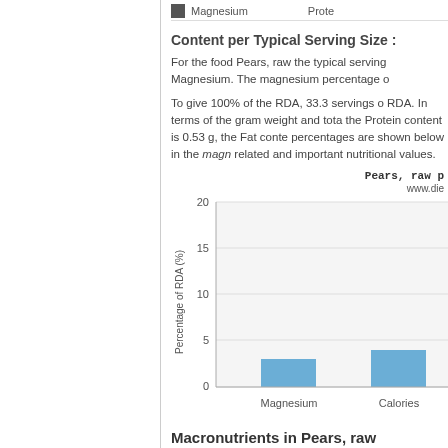Magnesium    Prote
Content per Typical Serving Size :
For the food Pears, raw the typical serving Magnesium. The magnesium percentage o
To give 100% of the RDA, 33.3 servings o RDA. In terms of the gram weight and tota the Protein content is 0.53 g, the Fat conte percentages are shown below in the magn related and important nutritional values.
[Figure (bar-chart): Pears, raw p]
Macronutrients in Pears, raw
The amount of protein, fat and carbs from and grams in a typical serving size (in this